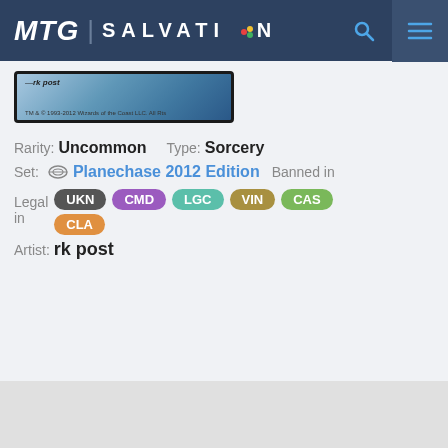MTG | SALVATION
[Figure (screenshot): Partial MTG card image showing blue/water background with text 'rk post' and small print at bottom]
Rarity: Uncommon   Type: Sorcery
Set: Planechase 2012 Edition   Banned in
Legal in   UKN  CMD  LGC  VIN  CAS
CLA
Artist: rk post